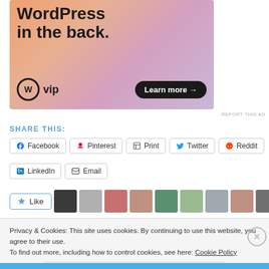[Figure (illustration): WordPress VIP advertisement banner with colorful gradient background (orange, pink, purple). Text reads 'WordPress in the back.' with WordPress VIP logo and 'Learn more →' button.]
REPORT THIS AD
SHARE THIS:
Facebook
Pinterest
Print
Twitter
Reddit
LinkedIn
Email
[Figure (screenshot): Like button with star icon and row of user avatar thumbnails]
Privacy & Cookies: This site uses cookies. By continuing to use this website, you agree to their use.
To find out more, including how to control cookies, see here: Cookie Policy
Close and accept